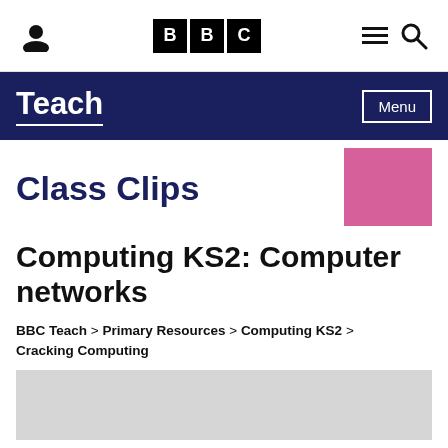BBC Teach – Class Clips navigation bar with BBC logo, person icon, hamburger menu, and search icon
Teach – Menu
Class Clips
Computing KS2: Computer networks
BBC Teach > Primary Resources > Computing KS2 > Cracking Computing
[Figure (photo): Grey video placeholder thumbnail area]